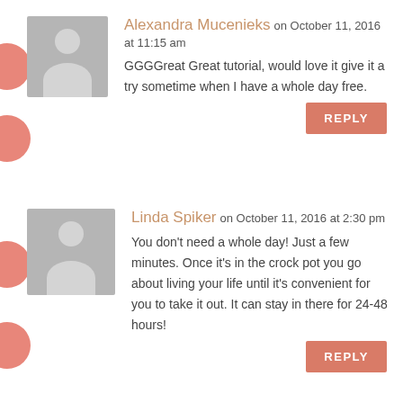Alexandra Mucenieks on October 11, 2016 at 11:15 am
GGGGreat Great tutorial, would love it give it a try sometime when I have a whole day free.
REPLY
Linda Spiker on October 11, 2016 at 2:30 pm
You don't need a whole day! Just a few minutes. Once it's in the crock pot you go about living your life until it's convenient for you to take it out. It can stay in there for 24-48 hours!
REPLY